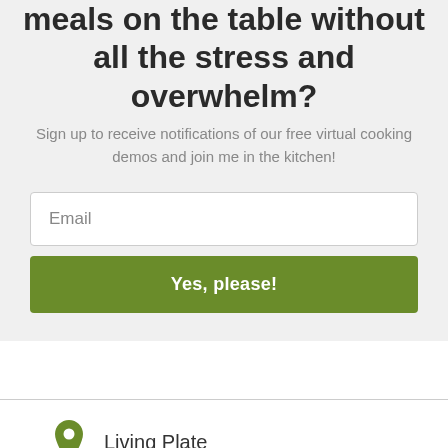meals on the table without all the stress and overwhelm?
Sign up to receive notifications of our free virtual cooking demos and join me in the kitchen!
[Figure (screenshot): Email input field with placeholder text 'Email' and a green 'Yes, please!' submit button]
Living Plate